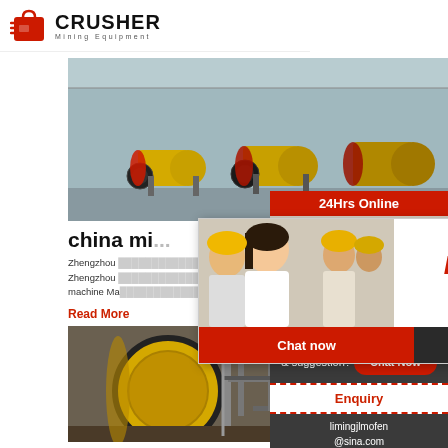[Figure (logo): Crusher Mining Equipment logo with red shopping bag icon]
[Figure (photo): Yellow ball mills in industrial warehouse]
china mi...
Zhengzhou ... Zhengzhou ... machine Ma...
Read More
[Figure (photo): Yellow industrial ball mill equipment in factory]
[Figure (infographic): Live Chat popup overlay with workers in hard hats, Chat now and Chat later buttons]
[Figure (infographic): Right sidebar: 24Hrs Online, customer service agent with headset, Need questions & suggestion, Chat Now, Enquiry, limingjlmofen@sina.com]